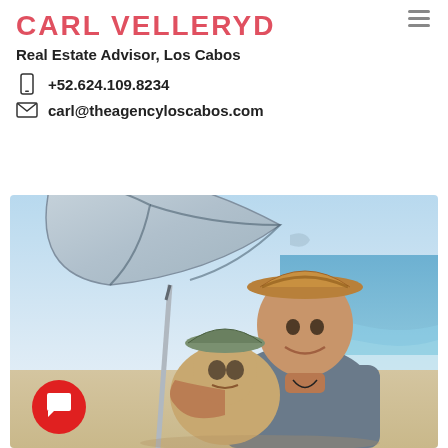CARL VELLERYD
Real Estate Advisor, Los Cabos
+52.624.109.8234
carl@theagencyloscabos.com
[Figure (photo): A man wearing a straw hat holds a young toddler in a bucket hat while sitting on a beach under a large beach umbrella. The ocean and sky are visible in the background. A red circular chat button is overlaid in the bottom-left corner.]